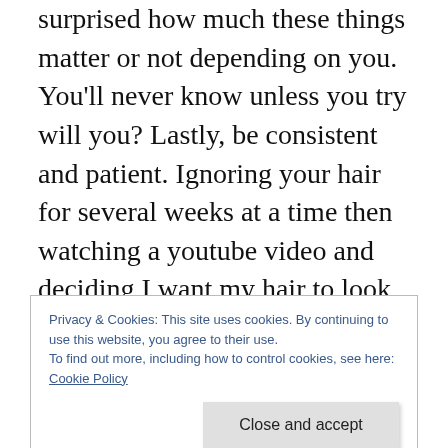surprised how much these things matter or not depending on you. You'll never know unless you try will you? Lastly, be consistent and patient. Ignoring your hair for several weeks at a time then watching a youtube video and deciding I want my hair to look like that will make you take several seats every time. Your hair thrives on the proper balance of moisture and protein. When these are not in place any attempted style is going to be a disaster. So spend a lot of time learning and understanding protein and the different types as well as learning the difference between a moisturizer and a lubricant (oils, butters).
Privacy & Cookies: This site uses cookies. By continuing to use this website, you agree to their use.
To find out more, including how to control cookies, see here: Cookie Policy
hair looks great. Research the benefits and the cons of